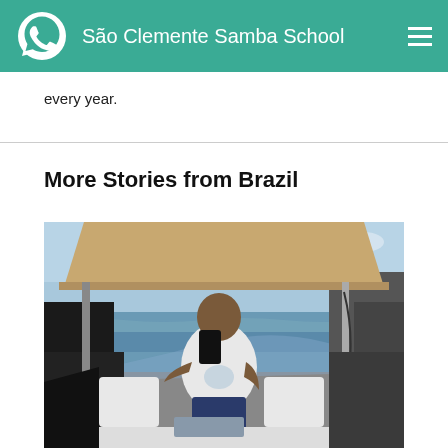São Clemente Samba School
every year.
More Stories from Brazil
[Figure (photo): A man sitting on a boat on the water, holding a phone to his mouth. He is wearing a white t-shirt and blue shorts. The boat has a canvas canopy and white seating. There is ocean water and a blue sky visible in the background.]